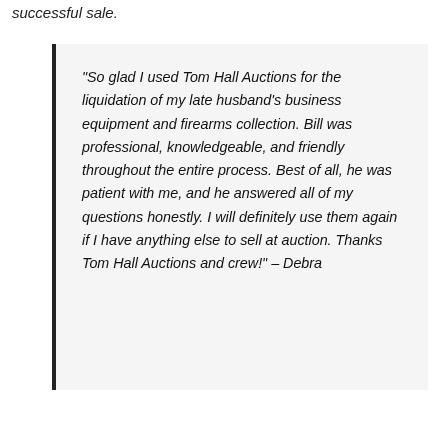successful sale.
“So glad I used Tom Hall Auctions for the liquidation of my late husband’s business equipment and firearms collection. Bill was professional, knowledgeable, and friendly throughout the entire process. Best of all, he was patient with me, and he answered all of my questions honestly. I will definitely use them again if I have anything else to sell at auction. Thanks Tom Hall Auctions and crew!” – Debra